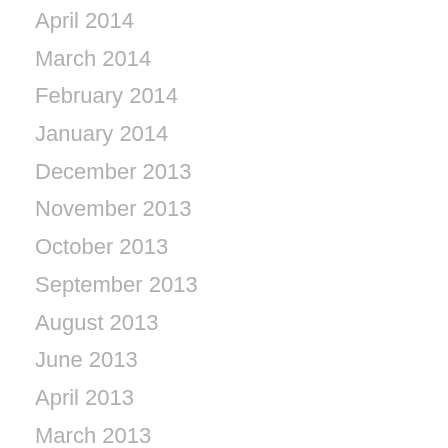April 2014
March 2014
February 2014
January 2014
December 2013
November 2013
October 2013
September 2013
August 2013
June 2013
April 2013
March 2013
February 2013
January 2013
November 2012
October 2012
September 2012